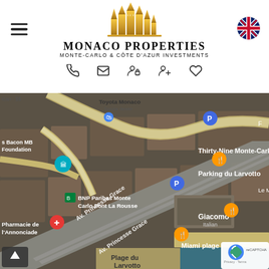[Figure (logo): Monaco Properties logo with golden building silhouette icon above the text 'MONACO PROPERTIES' and subtitle 'MONTE-CARLO & CÔTE D'AZUR INVESTMENTS']
[Figure (map): Google Maps satellite view of Larvotto area in Monaco showing landmarks including Thirty-Nine Monte-Carlo, Parking du Larvotto, BNP Paribas Monte Carlo Pont La Rousse, Pharmacie de l'Annonciade, Giacomo Italian restaurant, Miami plage, Plage du Larvotto, and Av. Princesse Grace road. Map pins in orange, blue (parking), red, and teal colors are visible.]